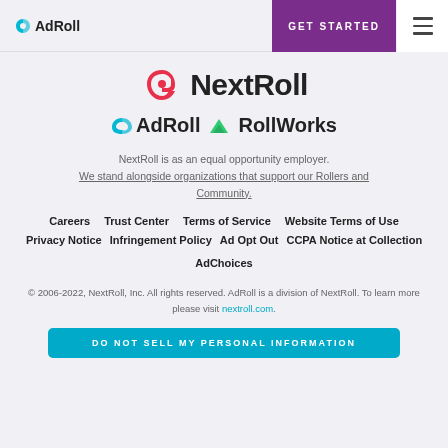AdRoll | GET STARTED
[Figure (logo): NextRoll logo — stylized red/pink circle-arrow icon followed by bold text 'NextRoll']
[Figure (logo): AdRoll and RollWorks brand logos side by side — teal arrow icon + bold 'AdRoll', green triangle icon + bold 'RollWorks']
NextRoll is as an equal opportunity employer. We stand alongside organizations that support our Rollers and Community.
Careers
Trust Center
Terms of Service
Website Terms of Use
Privacy Notice
Infringement Policy
Ad Opt Out
CCPA Notice at Collection
AdChoices
© 2006-2022, NextRoll, Inc. All rights reserved. AdRoll is a division of NextRoll. To learn more please visit nextroll.com.
DO NOT SELL MY PERSONAL INFORMATION